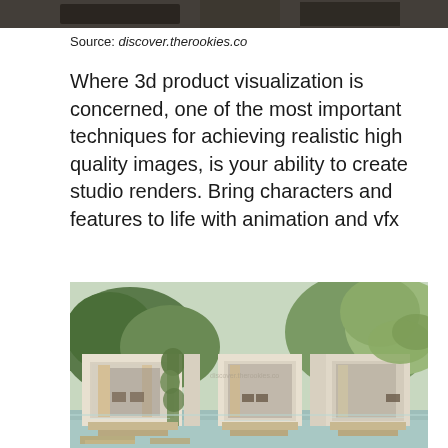[Figure (photo): Top portion of a cropped architectural/interior render image, barely visible as a dark strip at the top of the page]
Source: discover.therookies.co
Where 3d product visualization is concerned, one of the most important techniques for achieving realistic high quality images, is your ability to create studio renders. Bring characters and features to life with animation and vfx
[Figure (photo): 3D architectural visualization render showing three modern white cabana-style structures with open fronts revealing draped interiors, surrounded by lush tropical vegetation including palm trees, reflected in a pool of water in the foreground]